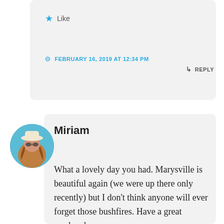★ Like
FEBRUARY 16, 2019 AT 12:34 PM
↳ REPLY
Miriam
What a lovely day you had. Marysville is beautiful again (we were up there only recently) but I don't think anyone will ever forget those bushfires. Have a great weekend